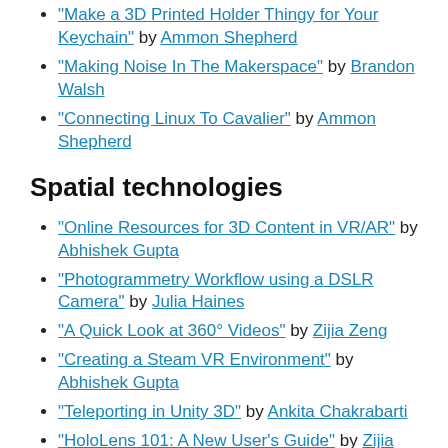"Make a 3D Printed Holder Thingy for Your Keychain" by Ammon Shepherd
"Making Noise In The Makerspace" by Brandon Walsh
"Connecting Linux To Cavalier" by Ammon Shepherd
Spatial technologies
"Online Resources for 3D Content in VR/AR" by Abhishek Gupta
"Photogrammetry Workflow using a DSLR Camera" by Julia Haines
"A Quick Look at 360° Videos" by Zijia Zeng
"Creating a Steam VR Environment" by Abhishek Gupta
"Teleporting in Unity 3D" by Ankita Chakrabarti
"HoloLens 101: A New User's Guide" by Zijia